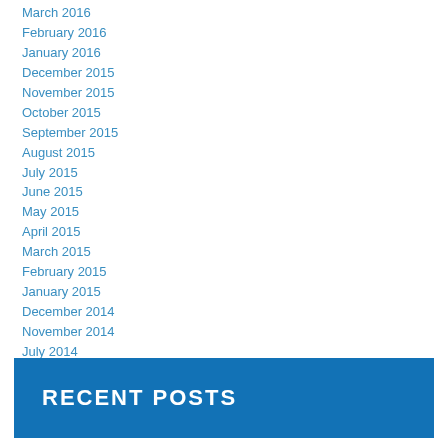March 2016
February 2016
January 2016
December 2015
November 2015
October 2015
September 2015
August 2015
July 2015
June 2015
May 2015
April 2015
March 2015
February 2015
January 2015
December 2014
November 2014
July 2014
RECENT POSTS